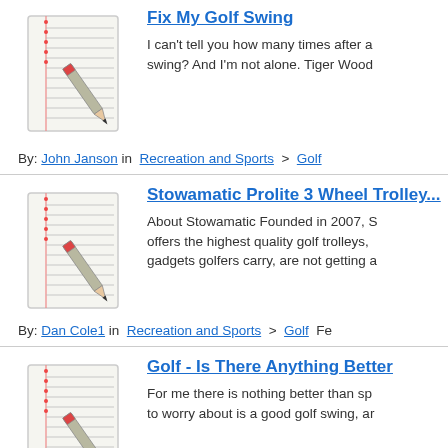[Figure (illustration): Notepad with pencil icon - article thumbnail]
Fix My Golf Swing
I can't tell you how many times after a swing? And I'm not alone. Tiger Wood
By: John Janson in  Recreation and Sports  >  Golf
[Figure (illustration): Notepad with pencil icon - article thumbnail]
Stowamatic Prolite 3 Wheel Trolley...
About Stowamatic Founded in 2007, S offers the highest quality golf trolleys, gadgets golfers carry, are not getting a
By: Dan Cole1 in  Recreation and Sports  >  Golf  Fe
[Figure (illustration): Notepad with pencil icon - article thumbnail]
Golf - Is There Anything Better
For me there is nothing better than sp to worry about is a good golf swing, ar
By: Mitch B. in  Recreation and Sports  >  Golf  Mar
[Figure (illustration): Notepad with pencil icon - article thumbnail]
Golf Handicap System
Golf handicap systems are used to lev compete against each other, while giv